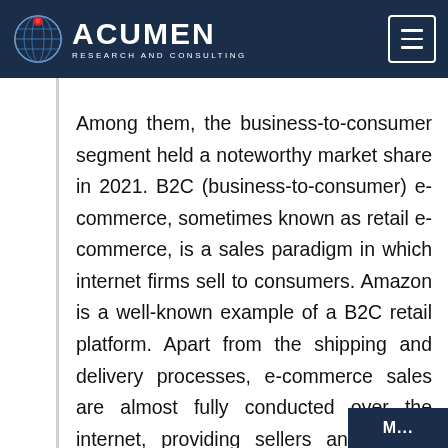Acumen Research and Consulting
Among them, the business-to-consumer segment held a noteworthy market share in 2021. B2C (business-to-consumer) e-commerce, sometimes known as retail e-commerce, is a sales paradigm in which internet firms sell to consumers. Amazon is a well-known example of a B2C retail platform. Apart from the shipping and delivery processes, e-commerce sales are almost fully conducted over the internet, providing sellers and buyers with the convenience and freedom to conduct transactions at any time and from any location. Because of th